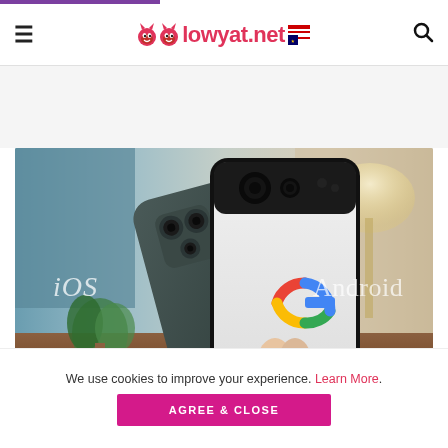lowyat.net
[Figure (photo): Photo of an iPhone 11 Pro (dark green/slate, back facing) held next to a white Google Pixel 4 smartphone. Text overlay reads 'iOS' on the left and 'Android' on the right. The Google 'G' logo is visible on the Pixel's back. Background shows a blurred indoor setting with a plant and lamp.]
We use cookies to improve your experience. Learn More.
AGREE & CLOSE